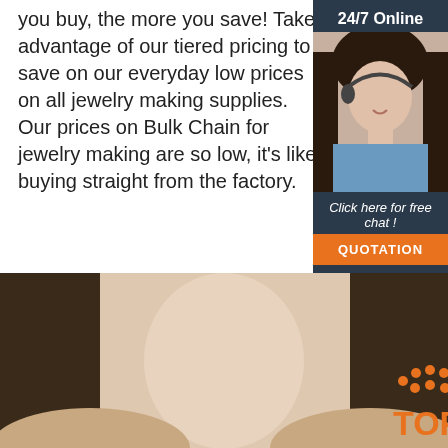you buy, the more you save! Take advantage of our tiered pricing to save on our everyday low prices on all jewelry making supplies. Our prices on Bulk Chain for jewelry making are so low, it's like buying straight from the factory.
[Figure (other): Orange 'Get Price' button]
[Figure (other): Right sidebar with '24/7 Online' label, customer service representative photo, 'Click here for free chat!' text, and orange 'QUOTATION' button on dark navy background]
[Figure (photo): Close-up photo of woman's neck/décolletage area wearing jewelry, with orange TOP logo watermark in bottom right corner]